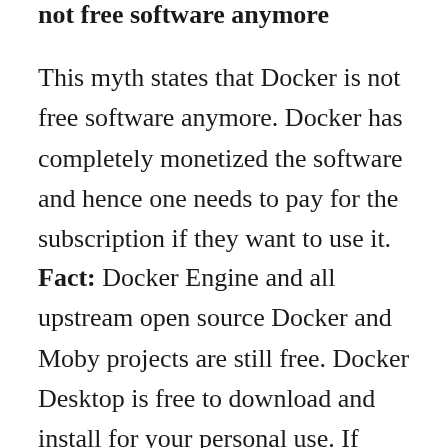not free software anymore
This myth states that Docker is not free software anymore. Docker has completely monetized the software and hence one needs to pay for the subscription if they want to use it.
Fact: Docker Engine and all upstream open source Docker and Moby projects are still free. Docker Desktop is free to download and install for your personal use. If you're running a small business with fewer than 250 employees and less